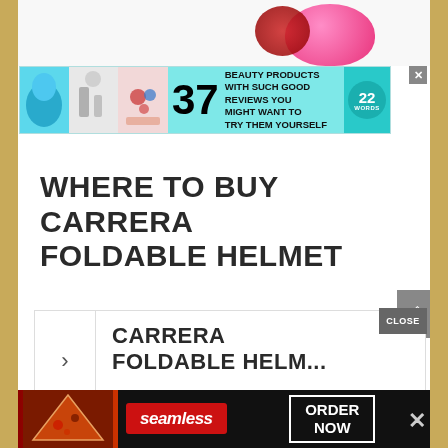[Figure (photo): Product photo showing pink ball and red glittery ball on white background]
[Figure (infographic): Advertisement banner: 37 Beauty Products With Such Good Reviews You Might Want To Try Them Yourself - 22 Words]
WHERE TO BUY CARRERA FOLDABLE HELMET
[Figure (screenshot): Card widget with right arrow navigation showing CARRERA FOLDABLE HELM... text]
[Figure (infographic): Bottom advertisement banner for Seamless food delivery - ORDER NOW]
[Figure (infographic): CLOSE button overlay on card widget]